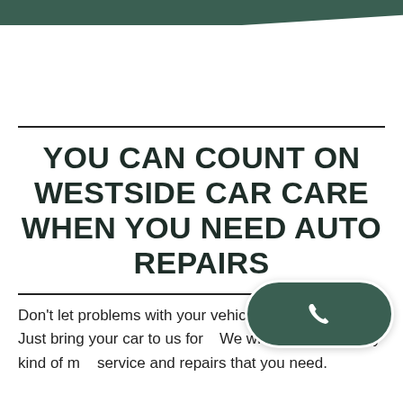[Figure (illustration): Dark green decorative bar/shape at the top of the page]
YOU CAN COUNT ON WESTSIDE CAR CARE WHEN YOU NEED AUTO REPAIRS
Don't let problems with your vehicle slow you down. Just bring your car to us for... We will take care of any kind of m... service and repairs that you need...
[Figure (illustration): Dark green rounded rectangle phone call button with white phone handset icon, positioned in the lower right corner]